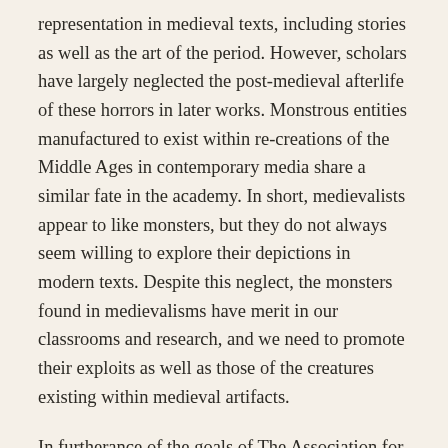representation in medieval texts, including stories as well as the art of the period. However, scholars have largely neglected the post-medieval afterlife of these horrors in later works. Monstrous entities manufactured to exist within re-creations of the Middle Ages in contemporary media share a similar fate in the academy. In short, medievalists appear to like monsters, but they do not always seem willing to explore their depictions in modern texts. Despite this neglect, the monsters found in medievalisms have merit in our classrooms and research, and we need to promote their exploits as well as those of the creatures existing within medieval artifacts.
In furtherance of the goals of The Association for the Advancement of Scholarship and Teaching of the Medieval in Popular Culture, we seek in this panel to